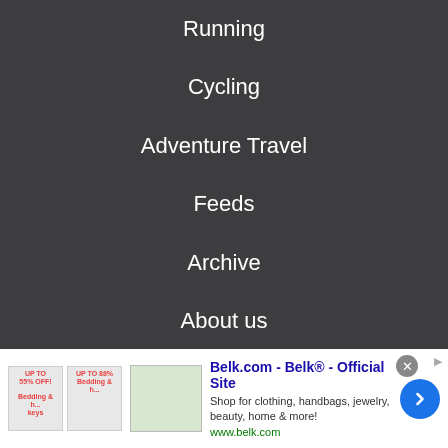Running
Cycling
Adventure Travel
Feeds
Archive
About us
Do not sell my info
© Future Publishing Limited Quay House, The Ambury, Bath
[Figure (screenshot): Advertisement banner for Belk.com - Belk® - Official Site. Shows product thumbnails, ad text 'Shop for clothing, handbags, jewelry, beauty, home & more!' and URL www.belk.com. Has a blue circular arrow button on the right.]